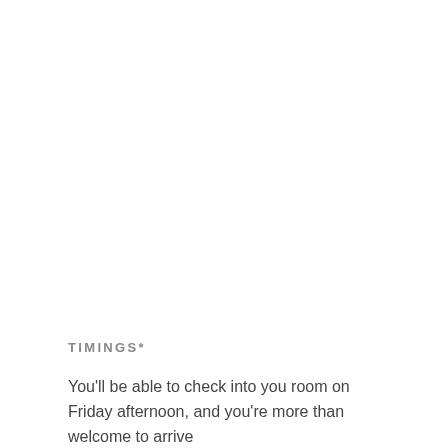TIMINGS*
You'll be able to check into you room on Friday afternoon, and you're more than welcome to arrive